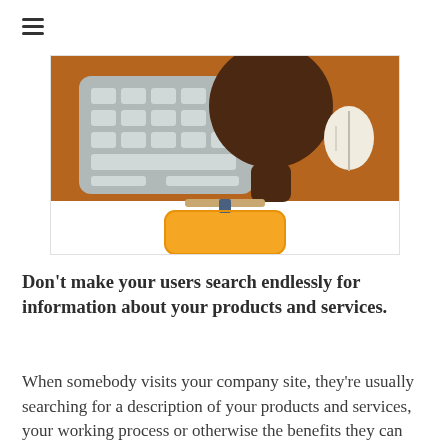[Figure (illustration): Illustration of a person with dark skin sitting at a desk with a keyboard and mouse on a brown/orange desk surface, viewed from above and slightly behind. The person's head is visible at the top. An orange chair/seat is at the bottom center.]
Don't make your users search endlessly for information about your products and services.
When somebody visits your company site, they're usually searching for a description of your products and services, your working process or otherwise the benefits they can derive from working with you.